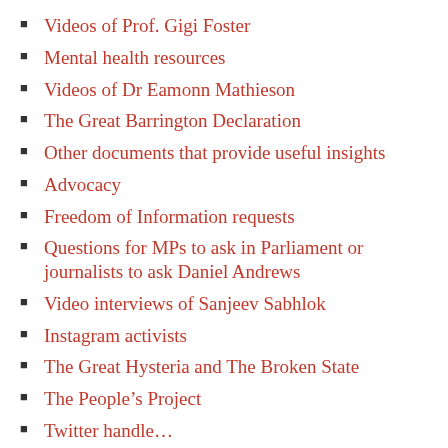Videos of Prof. Gigi Foster
Mental health resources
Videos of Dr Eamonn Mathieson
The Great Barrington Declaration
Other documents that provide useful insights
Advocacy
Freedom of Information requests
Questions for MPs to ask in Parliament or journalists to ask Daniel Andrews
Video interviews of Sanjeev Sabhlok
Instagram activists
The Great Hysteria and The Broken State
The People's Project
Twitter handle…